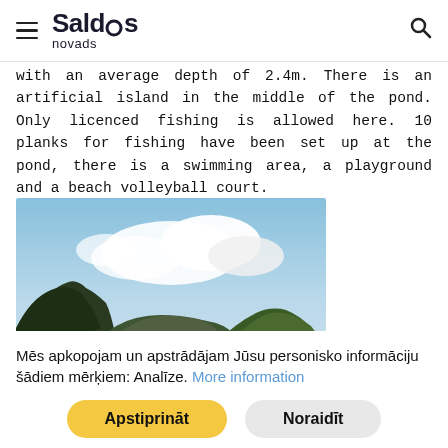Saldus novads
with an average depth of 2.4m. There is an artificial island in the middle of the pond. Only licenced fishing is allowed here. 10 planks for fishing have been set up at the pond, there is a swimming area, a playground and a beach volleyball court.
[Figure (photo): Landscape photo of a calm pond or lake with trees along the banks and a partly cloudy sky above.]
Mēs apkopojam un apstrādājam Jūsu personisko informāciju šādiem mērķiem: Analīze. More information
Apstiprināt | Noraidīt